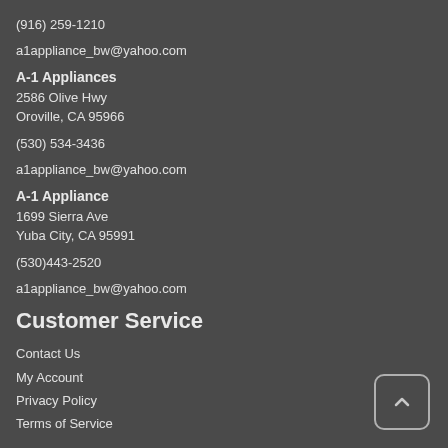(916) 259-1210
a1appliance_bw@yahoo.com
A-1 Appliances
2586 Olive Hwy
Oroville, CA 95966
(530) 534-3436
a1appliance_bw@yahoo.com
A-1 Appliance
1699 Sierra Ave
Yuba City, CA 95991
(530)443-2520
a1appliance_bw@yahoo.com
Customer Service
Contact Us
My Account
Privacy Policy
Terms of Service